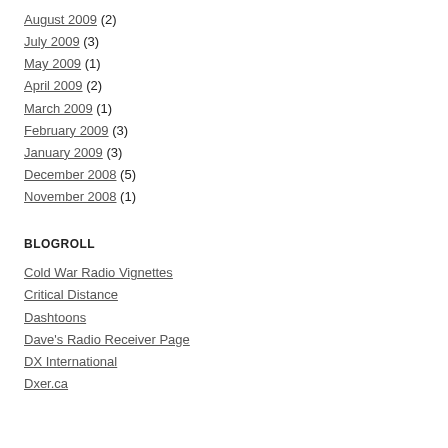August 2009 (2)
July 2009 (3)
May 2009 (1)
April 2009 (2)
March 2009 (1)
February 2009 (3)
January 2009 (3)
December 2008 (5)
November 2008 (1)
BLOGROLL
Cold War Radio Vignettes
Critical Distance
Dashtoons
Dave's Radio Receiver Page
DX International
Dxer.ca